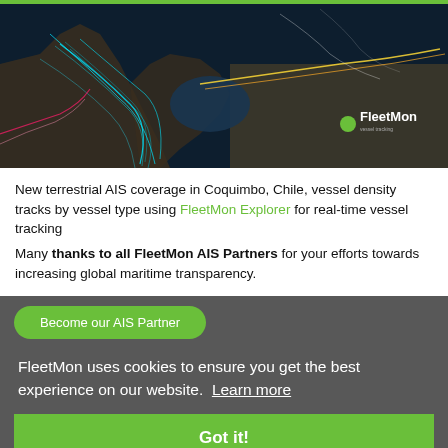[Figure (screenshot): Satellite/map view of Coquimbo, Chile showing vessel density tracks overlaid on a dark map, with colored (cyan, yellow, red, magenta) AIS track lines and the FleetMon logo in the lower right.]
New terrestrial AIS coverage in Coquimbo, Chile, vessel density tracks by vessel type using FleetMon Explorer for real-time vessel tracking
Many thanks to all FleetMon AIS Partners for your efforts towards increasing global maritime transparency.
Become our AIS Partner
FleetMon uses cookies to ensure you get the best experience on our website. Learn more
Got it!
Related Posts
[Figure (screenshot): Bottom thumbnail area showing partial image with UK and German flag icons]